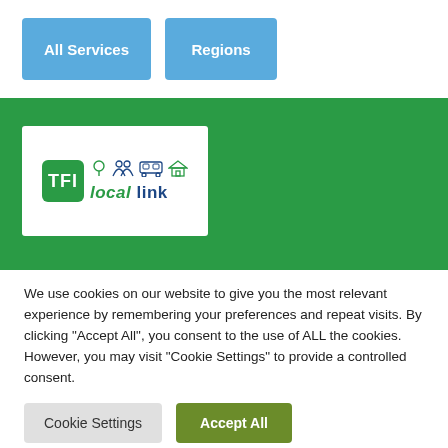All Services
Regions
[Figure (logo): TFI Local Link logo with green badge showing 'TFI', transport icons (tree, people, bus, house), and 'local link' text in blue and green]
We use cookies on our website to give you the most relevant experience by remembering your preferences and repeat visits. By clicking “Accept All”, you consent to the use of ALL the cookies. However, you may visit "Cookie Settings" to provide a controlled consent.
Cookie Settings
Accept All